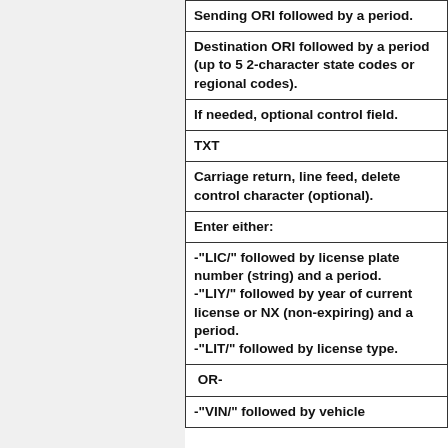| Sending ORI followed by a period. |
| Destination ORI followed by a period (up to 5 2-character state codes or regional codes). |
| If needed, optional control field. |
| TXT |
| Carriage return, line feed, delete control character (optional). |
| Enter either: |
| -"LIC/" followed by license plate number (string) and a period.
-"LIY/" followed by year of current license or NX (non-expiring) and a period.
-"LIT/" followed by license type. |
| OR- |
| -"VIN/" followed by vehicle identification number (string) and a period if... |